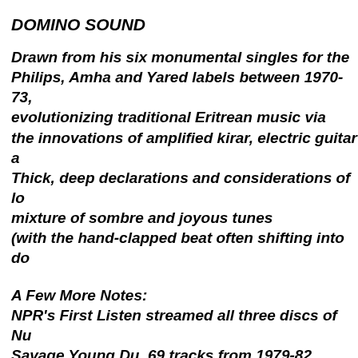DOMINO SOUND
Drawn from his six monumental singles for the Philips, Amha and Yared labels between 1970-73, evolutionizing traditional Eritrean music via the innovations of amplified kirar, electric guitar a Thick, deep declarations and considerations of lo mixture of sombre and joyous tunes (with the hand-clapped beat often shifting into do
A Few More Notes:
NPR's First Listen streamed all three discs of Nu Savage Young Du, 69 tracks from 1979-82, prece Michaelangelo Matos' brimming, bracing backsto Takes a while for them to get it together in any no non-dated way, though do really like "Statues,"
"Industrial Grocery Store," and several others are